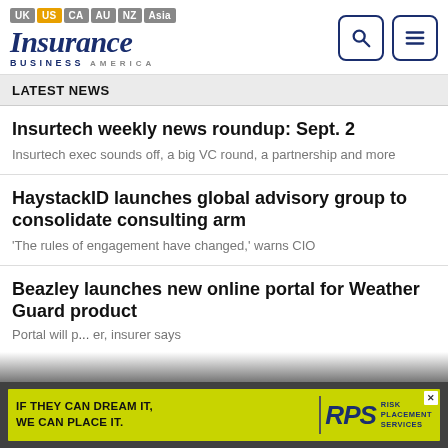[Figure (logo): Insurance Business America logo with region tabs (UK, US, CA, AU, NZ, Asia) and search/menu icons]
LATEST NEWS
Insurtech weekly news roundup: Sept. 2
Insurtech exec sounds off, a big VC round, a partnership and more
HaystackID launches global advisory group to consolidate consulting arm
'The rules of engagement have changed,' warns CIO
Beazley launches new online portal for Weather Guard product
Portal will p... er, insurer says
[Figure (advertisement): RPS Risk Placement Services ad banner: 'If they can dream it, we can place it.']